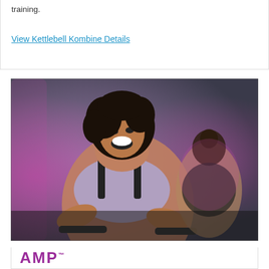training.
View Kettlebell Kombine Details
[Figure (photo): Two women in athletic wear exercising on cycling bikes in a gym with dramatic pink and purple lighting. The woman in the foreground is smiling and looking upward, wearing a lavender sports bra and black workout clothes. A second woman is visible in the background.]
[Figure (logo): AMP logo in purple/magenta text with trademark symbol]